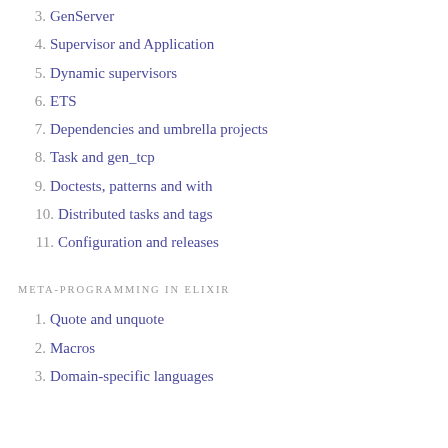3. GenServer
4. Supervisor and Application
5. Dynamic supervisors
6. ETS
7. Dependencies and umbrella projects
8. Task and gen_tcp
9. Doctests, patterns and with
10. Distributed tasks and tags
11. Configuration and releases
META-PROGRAMMING IN ELIXIR
1. Quote and unquote
2. Macros
3. Domain-specific languages